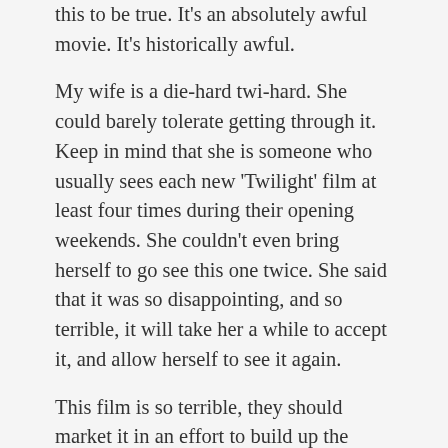The 'Twi-hards' don't even believe this to be true. It's an absolutely awful movie. It's historically awful.
My wife is a die-hard twi-hard. She could barely tolerate getting through it. Keep in mind that she is someone who usually sees each new 'Twilight' film at least four times during their opening weekends. She couldn't even bring herself to go see this one twice. She said that it was so disappointing, and so terrible, it will take her a while to accept it, and allow herself to see it again.
This film is so terrible, they should market it in an effort to build up the other 'Twilight' films. It is literally the 'Twilight' movie that makes the bad 'Twilight' films look good.
Luke didn't do the following scene